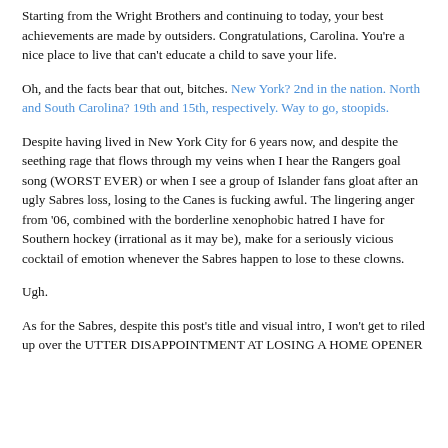Starting from the Wright Brothers and continuing to today, your best achievements are made by outsiders. Congratulations, Carolina. You're a nice place to live that can't educate a child to save your life.
Oh, and the facts bear that out, bitches. New York? 2nd in the nation. North and South Carolina? 19th and 15th, respectively. Way to go, stoopids.
Despite having lived in New York City for 6 years now, and despite the seething rage that flows through my veins when I hear the Rangers goal song (WORST EVER) or when I see a group of Islander fans gloat after an ugly Sabres loss, losing to the Canes is fucking awful. The lingering anger from '06, combined with the borderline xenophobic hatred I have for Southern hockey (irrational as it may be), make for a seriously vicious cocktail of emotion whenever the Sabres happen to lose to these clowns.
Ugh.
As for the Sabres, despite this post's title and visual intro, I won't get to riled up over the UTTER DISAPPOINTMENT AT LOSING A HOME OPENER